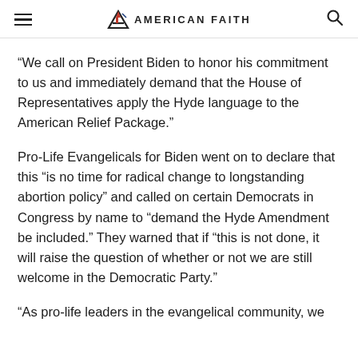AMERICAN FAITH
“We call on President Biden to honor his commitment to us and immediately demand that the House of Representatives apply the Hyde language to the American Relief Package.”
Pro-Life Evangelicals for Biden went on to declare that this “is no time for radical change to longstanding abortion policy” and called on certain Democrats in Congress by name to “demand the Hyde Amendment be included.” They warned that if “this is not done, it will raise the question of whether or not we are still welcome in the Democratic Party.”
“As pro-life leaders in the evangelical community, we